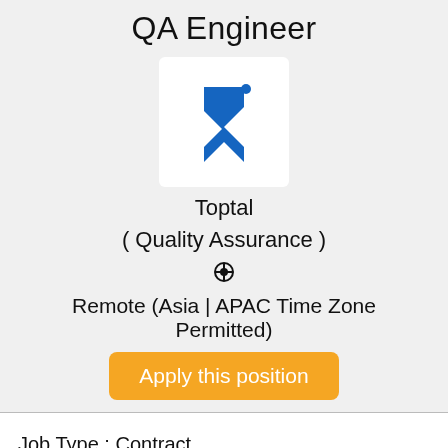QA Engineer
[Figure (logo): Toptal logo — blue angular arrow/pointer mark on white background]
Toptal
( Quality Assurance )
Remote (Asia | APAC Time Zone Permitted)
Apply this position
Job Type : Contract
Experience : 3 to 5 years
Education : Bachelor Degree